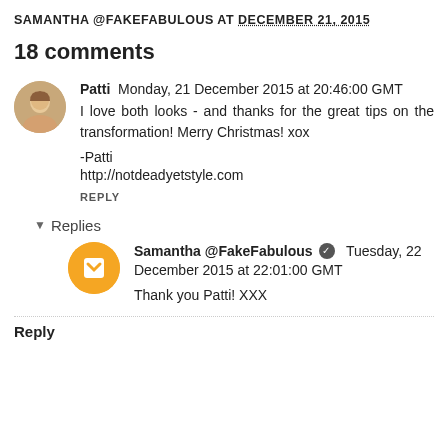SAMANTHA @FAKEFABULOUS AT DECEMBER 21, 2015
18 comments
Patti  Monday, 21 December 2015 at 20:46:00 GMT
I love both looks - and thanks for the great tips on the transformation! Merry Christmas! xox

-Patti
http://notdeadyetstyle.com
REPLY
▾ Replies
Samantha @FakeFabulous ✔ Tuesday, 22 December 2015 at 22:01:00 GMT
Thank you Patti! XXX
Reply